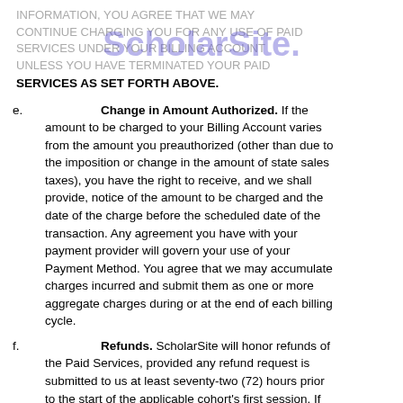INFORMATION, YOU AGREE THAT WE MAY CONTINUE CHARGING YOU FOR ANY USE OF PAID SERVICES UNDER YOUR BILLING ACCOUNT UNLESS YOU HAVE TERMINATED YOUR PAID SERVICES AS SET FORTH ABOVE.
e.   Change in Amount Authorized. If the amount to be charged to your Billing Account varies from the amount you preauthorized (other than due to the imposition or change in the amount of state sales taxes), you have the right to receive, and we shall provide, notice of the amount to be charged and the date of the charge before the scheduled date of the transaction. Any agreement you have with your payment provider will govern your use of your Payment Method. You agree that we may accumulate charges incurred and submit them as one or more aggregate charges during or at the end of each billing cycle.
f.   Refunds. ScholarSite will honor refunds of the Paid Services, provided any refund request is submitted to us at least seventy-two (72) hours prior to the start of the applicable cohort's first session. If you would like to submit a refund request, please contact us at info@scholarsite.io.